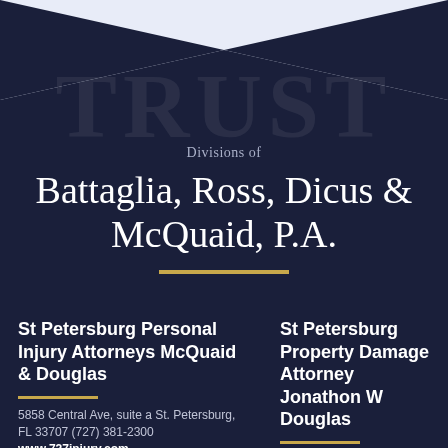[Figure (illustration): Dark navy background with light blue/white chevron/V-shape at top, and large faint 'TRUST' watermark text behind the firm name]
Divisions of
Battaglia, Ross, Dicus & McQuaid, P.A.
St Petersburg Personal Injury Attorneys McQuaid & Douglas
5858 Central Ave, suite a St. Petersburg, FL 33707 (727) 381-2300 www.727injury.com
St Petersburg Property Damage Attorney Jonathon W Douglas
5858 Central Ave, suite b St. Petersburg, FL 33707